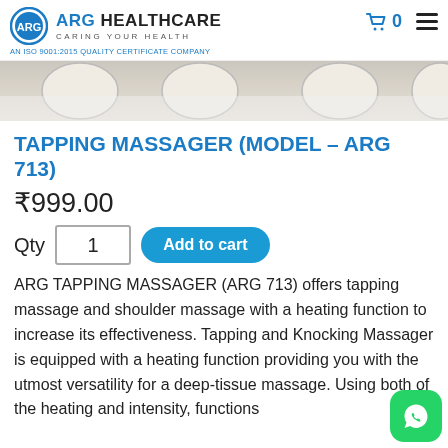ARG HEALTHCARE — CARING YOUR HEALTH | AN ISO 9001:2015 QUALITY CERTIFICATE COMPANY
[Figure (photo): Product image strip showing tapping massager device on shoulder/back area]
TAPPING MASSAGER (MODEL – ARG 713)
₹999.00
Qty 1  Add to cart
ARG TAPPING MASSAGER (ARG 713) offers tapping massage and shoulder massage with a heating function to increase its effectiveness. Tapping and Knocking Massager is equipped with a heating function providing you with the utmost versatility for a deep-tissue massage. Using both of the heating and intensity, functions